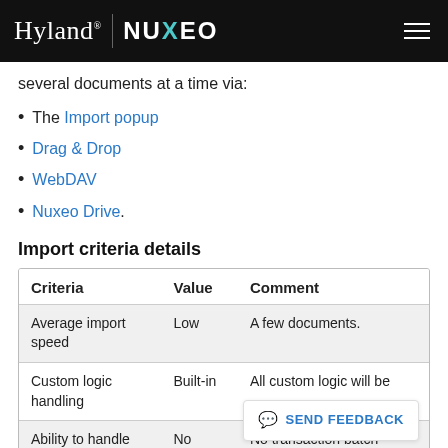Hyland NUXEO
several documents at a time via:
The Import popup
Drag & Drop
WebDAV
Nuxeo Drive.
Import criteria details
| Criteria | Value | Comment |
| --- | --- | --- |
| Average import speed | Low | A few documents. |
| Custom logic handling | Built-in | All custom logic will be |
| Ability to handle | No | No transaction batch |